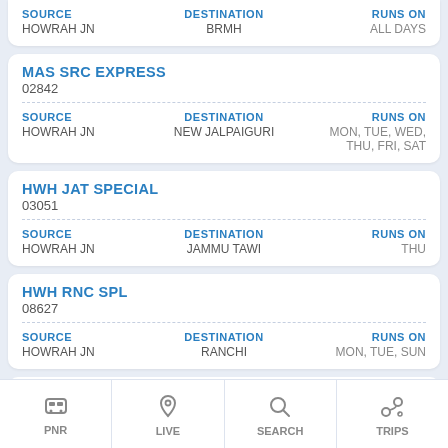SOURCE: HOWRAH JN | DESTINATION: BRMH | RUNS ON: ALL DAYS
MAS SRC EXPRESS
02842
SOURCE: HOWRAH JN | DESTINATION: NEW JALPAIGURI | RUNS ON: MON, TUE, WED, THU, FRI, SAT
HWH JAT SPECIAL
03051
SOURCE: HOWRAH JN | DESTINATION: JAMMU TAWI | RUNS ON: THU
HWH RNC SPL
08627
SOURCE: HOWRAH JN | DESTINATION: RANCHI | RUNS ON: MON, TUE, SUN
HWH ... SPL
030...
SOURCE: HOWRAH JN
PNR | LIVE | SEARCH | TRIPS